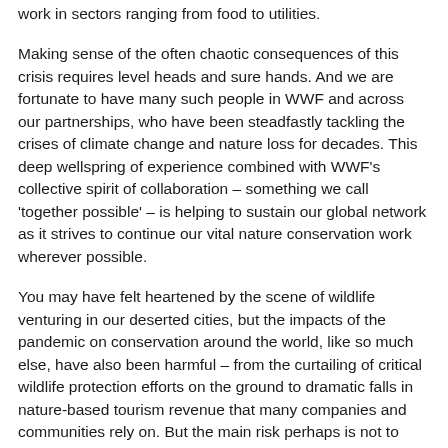work in sectors ranging from food to utilities.
Making sense of the often chaotic consequences of this crisis requires level heads and sure hands. And we are fortunate to have many such people in WWF and across our partnerships, who have been steadfastly tackling the crises of climate change and nature loss for decades. This deep wellspring of experience combined with WWF's collective spirit of collaboration – something we call 'together possible' – is helping to sustain our global network as it strives to continue our vital nature conservation work wherever possible.
You may have felt heartened by the scene of wildlife venturing in our deserted cities, but the impacts of the pandemic on conservation around the world, like so much else, have also been harmful – from the curtailing of critical wildlife protection efforts on the ground to dramatic falls in nature-based tourism revenue that many companies and communities rely on. But the main risk perhaps is not to learn what this crisis is so obviously telling us.